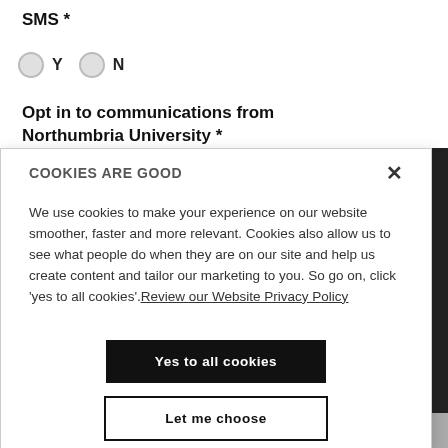SMS *
[Figure (other): Two radio buttons labeled Y and N]
Opt in to communications from Northumbria University *
COOKIES ARE GOOD
We use cookies to make your experience on our website smoother, faster and more relevant. Cookies also allow us to see what people do when they are on our site and help us create content and tailor our marketing to you. So go on, click 'yes to all cookies'. Review our Website Privacy Policy
Yes to all cookies
Let me choose